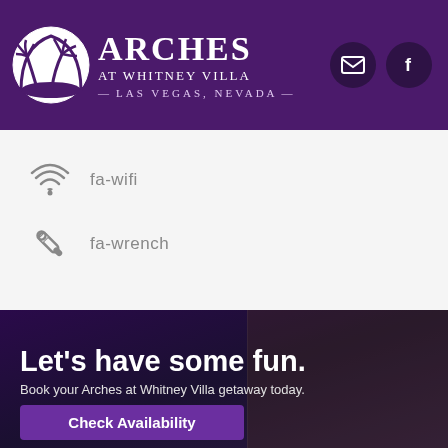[Figure (logo): Arches at Whitney Villa logo with palm trees in arch circle on purple header background]
Arches at Whitney Villa — Las Vegas, Nevada
fa-wifi
fa-wrench
Let’s have some fun.
Book your Arches at Whitney Villa getaway today.
Check Availability